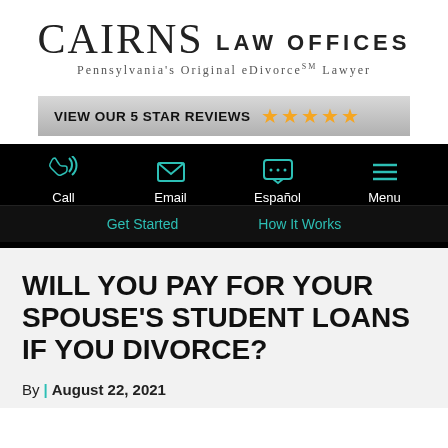[Figure (logo): Cairns Law Offices logo with tagline: Pennsylvania's Original eDivorceSM Lawyer]
[Figure (infographic): Silver banner reading VIEW OUR 5 STAR REVIEWS with 5 gold stars]
[Figure (infographic): Black navigation bar with teal icons: Call, Email, Español, Menu; and a second row with Get Started and How It Works links]
WILL YOU PAY FOR YOUR SPOUSE'S STUDENT LOANS IF YOU DIVORCE?
By | August 22, 2021